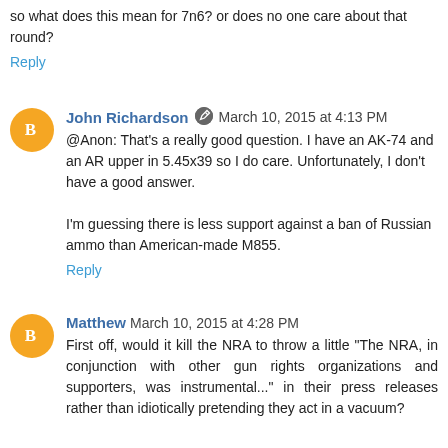so what does this mean for 7n6? or does no one care about that round?
Reply
John Richardson  March 10, 2015 at 4:13 PM
@Anon: That's a really good question. I have an AK-74 and an AR upper in 5.45x39 so I do care. Unfortunately, I don't have a good answer.

I'm guessing there is less support against a ban of Russian ammo than American-made M855.
Reply
Matthew  March 10, 2015 at 4:28 PM
First off, would it kill the NRA to throw a little "The NRA, in conjunction with other gun rights organizations and supporters, was instrumental..." in their press releases rather than idiotically pretending they act in a vacuum?